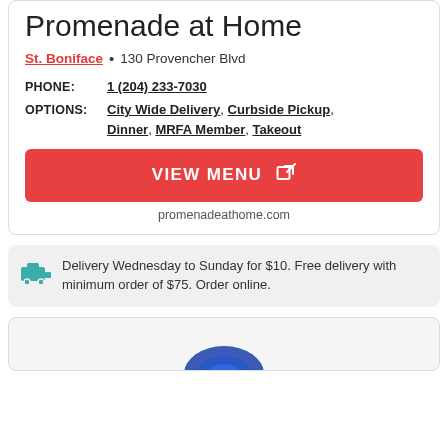Promenade at Home
St. Boniface • 130 Provencher Blvd
PHONE: 1 (204) 233-7030
OPTIONS: City Wide Delivery, Curbside Pickup, Dinner, MRFA Member, Takeout
VIEW MENU
promenadeathome.com
Delivery Wednesday to Sunday for $10. Free delivery with minimum order of $75. Order online.
[Figure (logo): Partial logo visible at bottom of page]